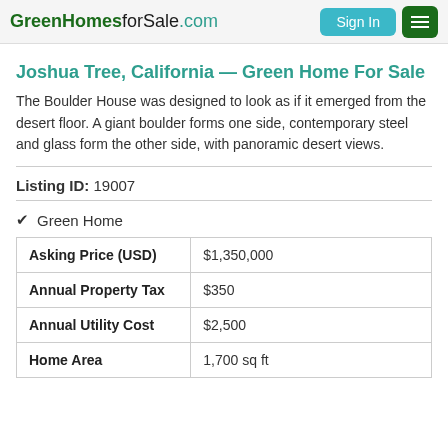GreenHomesforSale.com | Sign In | Menu
Joshua Tree, California — Green Home For Sale
The Boulder House was designed to look as if it emerged from the desert floor. A giant boulder forms one side, contemporary steel and glass form the other side, with panoramic desert views.
Listing ID: 19007
✔ Green Home
|  |  |
| --- | --- |
| Asking Price (USD) | $1,350,000 |
| Annual Property Tax | $350 |
| Annual Utility Cost | $2,500 |
| Home Area | 1,700 sq ft |